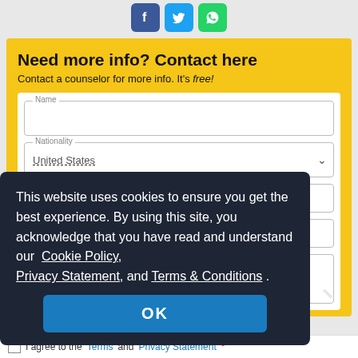[Figure (illustration): Three social media icon buttons: Facebook (blue), Twitter (light blue), WhatsApp (green)]
Need more info? Contact here
Contact a counselor for more info. It's free!
[Figure (screenshot): Contact form with Name field, Nationality dropdown showing 'United States', and partially visible form fields below]
This website uses cookies to ensure you get the best experience. By using this site, you acknowledge that you have read and understand our  Cookie Policy,  Privacy Statement,  and  Terms & Conditions .
OK
I agree to the Terms and Privacy Statement *